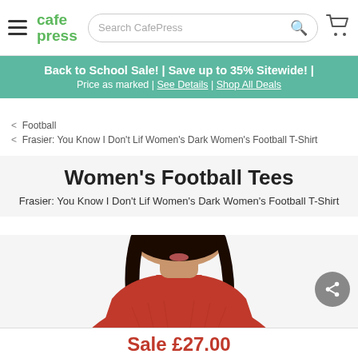CafePress — Search CafePress
Back to School Sale! | Save up to 35% Sitewide! | Price as marked | See Details | Shop All Deals
< Football
< Frasier: You Know I Don't Lif Women's Dark Women's Football T-Shirt
Women's Football Tees
Frasier: You Know I Don't Lif Women's Dark Women's Football T-Shirt
[Figure (photo): Woman wearing a red V-neck football T-shirt, cropped view showing head, neck, and upper torso]
Sale £27.00
Reg. £39.00